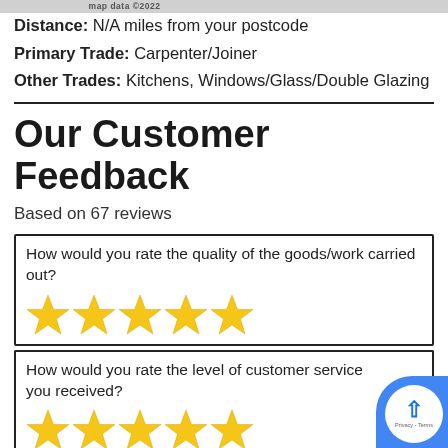map data ©2022
Distance: N/A miles from your postcode
Primary Trade: Carpenter/Joiner
Other Trades: Kitchens, Windows/Glass/Double Glazing
Our Customer Feedback
Based on 67 reviews
How would you rate the quality of the goods/work carried out? ★★★★★
How would you rate the level of customer service you received? ★★★★★